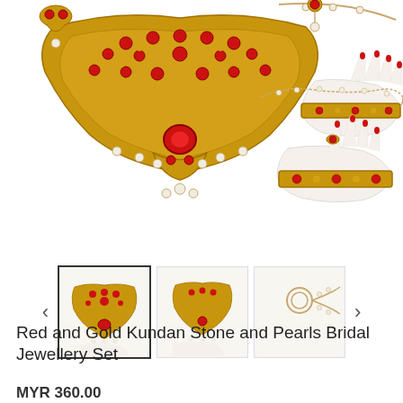[Figure (photo): Red and gold Kundan stone and pearls bridal jewellery set displayed on white mannequin hands and laid flat, showing necklace, earrings, bangles, maang tikka, and hand harness accessories with red gemstones and gold tones.]
[Figure (photo): Thumbnail gallery row showing three product images: first thumbnail (active/selected) showing the jewellery set on white background, second thumbnail showing similar set from different angle, third thumbnail showing a chain/maang tikka piece alone.]
Red and Gold Kundan Stone and Pearls Bridal Jewellery Set
MYR 360.00